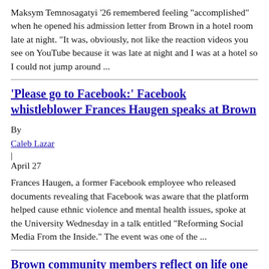Maksym Temnosagatyi '26 remembered feeling “accomplished” when he opened his admission letter from Brown in a hotel room late at night.  “It was, obviously, not like the reaction videos you see on YouTube because it was late at night and I was at a hotel so I could not jump around ...
‘Please go to Facebook:’ Facebook whistleblower Frances Haugen speaks at Brown
By
Caleb Lazar
April 27
Frances Haugen, a former Facebook employee who released documents revealing that Facebook was aware that the platform helped cause ethnic violence and mental health issues, spoke at the University Wednesday in a talk entitled “Reforming Social Media From the Inside.” The event was one of the ...
Brown community members reflect on life one year after Myanmar military coup